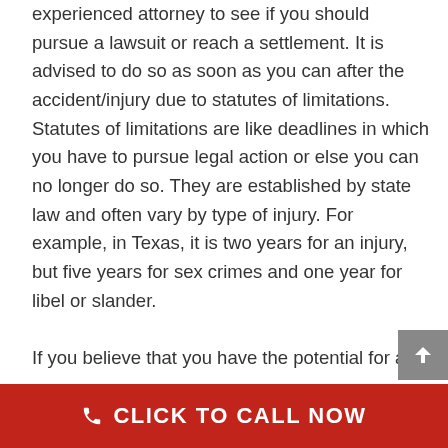experienced attorney to see if you should pursue a lawsuit or reach a settlement. It is advised to do so as soon as you can after the accident/injury due to statutes of limitations. Statutes of limitations are like deadlines in which you have to pursue legal action or else you can no longer do so. They are established by state law and often vary by type of injury. For example, in Texas, it is two years for an injury, but five years for sex crimes and one year for libel or slander.

If you believe that you have the potential for a personal injury case, it is very important to
CLICK TO CALL NOW